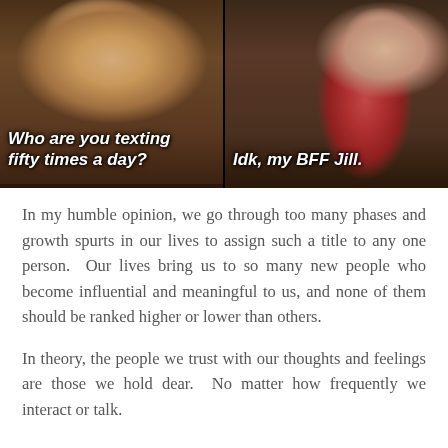[Figure (photo): Two-panel screenshot from a commercial or video. Left panel shows a blonde woman with a light blue shirt asking 'Who are you texting fifty times a day?' Right panel shows a young woman in a pink/red dress and dark cardigan gesturing with a paper, with caption 'Idk, my BFF Jill.']
In my humble opinion, we go through too many phases and growth spurts in our lives to assign such a title to any one person. Our lives bring us to so many new people who become influential and meaningful to us, and none of them should be ranked higher or lower than others.
In theory, the people we trust with our thoughts and feelings are those we hold dear. No matter how frequently we interact or talk.